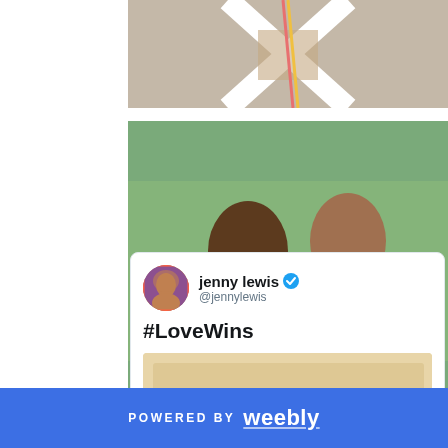[Figure (photo): Close-up photo of a person wearing a white crossed-back top, partially visible]
[Figure (photo): Two women in colorful carnival/pride parade costumes with rainbow tutus and hula hoops at an outdoor event]
jenny lewis @jennylewis
#LoveWins
[Figure (photo): Link preview image with tan/beige background]
POWERED BY weebly